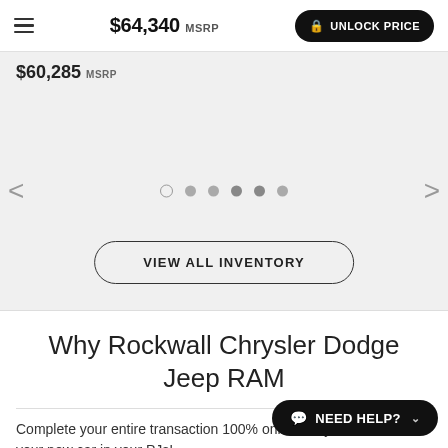$64,340 MSRP | UNLOCK PRICE
$60,285 MSRP
[Figure (other): Carousel navigation with left/right arrows and six pagination dots (first dot is open circle, rest are filled)]
VIEW ALL INVENTORY
Why Rockwall Chrysler Dodge Jeep RAM
Complete your entire transaction 100% online. Buy your new car in your PJs!
NEED HELP?